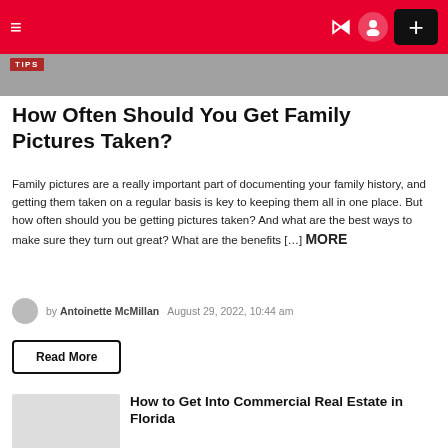≡  ) ⊙  +
[Figure (photo): Header image strip with TIPS badge overlay]
How Often Should You Get Family Pictures Taken?
Family pictures are a really important part of documenting your family history, and getting them taken on a regular basis is key to keeping them all in one place. But how often should you be getting pictures taken? And what are the best ways to make sure they turn out great? What are the benefits […] MORE
by Antoinette McMillan   August 29, 2022, 10:44 am
Read More
How to Get Into Commercial Real Estate in Florida
Read More
Lawyer Coaching: Which Format Is Right for